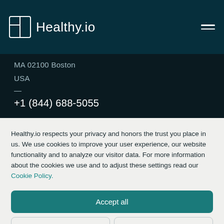Healthy.io
MA 02100 Boston
USA
+1 (844) 688-5055
Healthy.io respects your privacy and honors the trust you place in us. We use cookies to improve your user experience, our website functionality and to analyze our visitor data. For more information about the cookies we use and to adjust these settings read our Cookie Policy.
Accept all
Deny
No, adjust